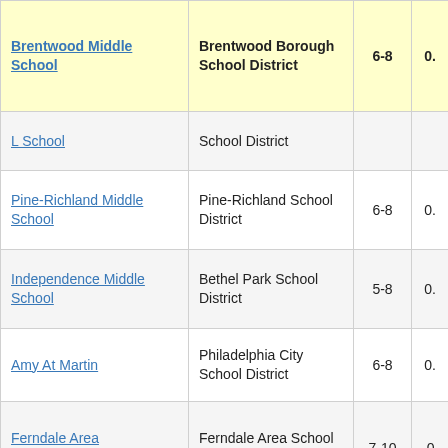| School | District | Grades | Score |
| --- | --- | --- | --- |
| Brentwood Middle School | Brentwood Borough School District | 6-8 | 0. |
| L School | School District |  |  |
| Pine-Richland Middle School | Pine-Richland School District | 6-8 | 0. |
| Independence Middle School | Bethel Park School District | 5-8 | 0. |
| Amy At Martin | Philadelphia City School District | 6-8 | 0. |
| Ferndale Area Junior/Senior High School | Ferndale Area School District | 7-10 | -0. |
| Johnsonburg Area Elementary School | Johnsonburg Area School District | 3-6 | -0. |
| Halifax Area Middle School | Halifax Area School District | 6-8 | -0. |